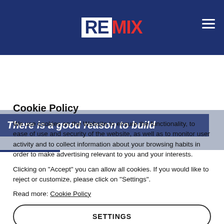REMIX
[Figure (screenshot): Hero banner with text: There is a good reason to build]
Cookie Policy
We use cookies on the Website to ensure the functionality, to ease of use and security of the website, as well as to monitor user activity and to collect information about your browsing habits in order to make advertising relevant to you and your interests.
Clicking on "Accept" you can allow all cookies. If you would like to reject or customize, please click on "Settings".
Read more: Cookie Policy
SETTINGS
ACCEPT